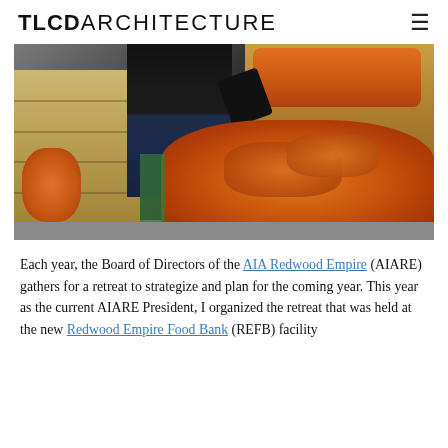TLCDARCHITECTURE
[Figure (photo): A person in a black t-shirt and jeans stands among large cardboard boxes and plastic bags filled with carrots at a food bank warehouse facility. Boxes labeled B&F Packaging are visible on the left side.]
Each year, the Board of Directors of the AIA Redwood Empire (AIARE) gathers for a retreat to strategize and plan for the coming year. This year as the current AIARE President, I organized the retreat that was held at the new Redwood Empire Food Bank (REFB) facility